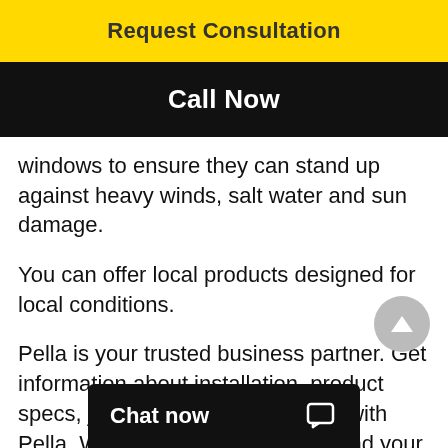Request Consultation
Call Now
windows to ensure they can stand up against heavy winds, salt water and sun damage.
You can offer local products designed for local conditions.
Pella is your trusted business partner. Get information about installation, product specs, job site support, and more with Pella. We're here to support you and your business.
The Pella Certified C
Chat now